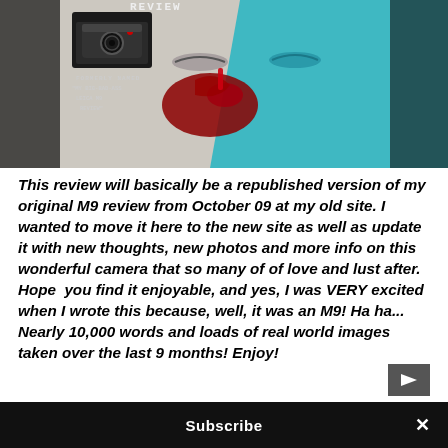[Figure (photo): Dark background photo of a child's face split diagonally — left half painted white with red/dark smeared paint, right half painted teal/blue. A camera review logo and text overlay appears in the upper left corner reading: FORMERLY NAMED 'MY BIG-BAD-ASS LEICA M9 REVIEW']
This review will basically be a republished version of my original M9 review from October 09 at my old site. I wanted to move it here to the new site as well as update it with new thoughts, new photos and more info on this wonderful camera that so many of of love and lust after. Hope  you find it enjoyable, and yes, I was VERY excited when I wrote this because, well, it was an M9! Ha ha... Nearly 10,000 words and loads of real world images taken over the last 9 months! Enjoy!
Subscribe ×